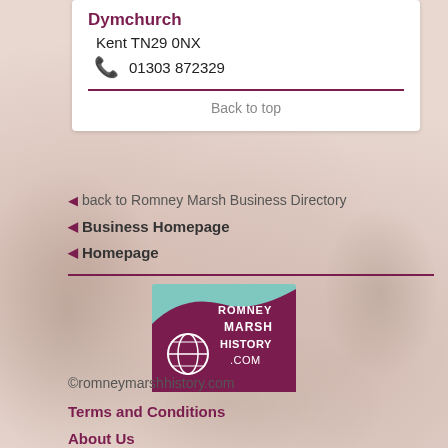Dymchurch
Kent TN29 0NX
01303 872329
Back to top
back to Romney Marsh Business Directory
Business Homepage
Homepage
[Figure (logo): Romney Marsh History .com logo with teal and purple wave design]
Terms and Conditions
©romneymarshhistory.com
About Us